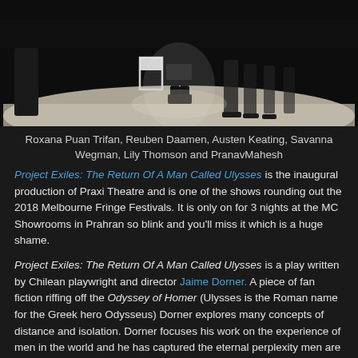[Figure (photo): Stage performance scene showing performers in black clothing and boots standing on a white/light stage floor with a white chair visible, dark curtains in background, dramatic lighting from above]
Roxana Puan Trifan, Reuben Daamen, Austen Keating, Savanna Wegman, Lily Thomson and PranavMahesh
Project Exiles: The Return Of A Man Called Ulysses is the inaugural production of Praxi Theatre and is one of the shows rounding out the 2018 Melbourne Fringe Festivals. It is only on for 3 nights at the MC Showrooms in Prahran so blink and you'll miss it which is a huge shame.
Project Exiles: The Return Of A Man Called Ulysses is a play written by Chilean playwright and director Jaime Dorner. A piece of fan fiction riffing off the Odyssey of Homer (Ulysses is the Roman name for the Greek hero Odysseus) Dorner explores many concepts of distance and isolation. Dorner focuses his work on the experience of men in the world and he has captured the eternal perplexity men are put under and